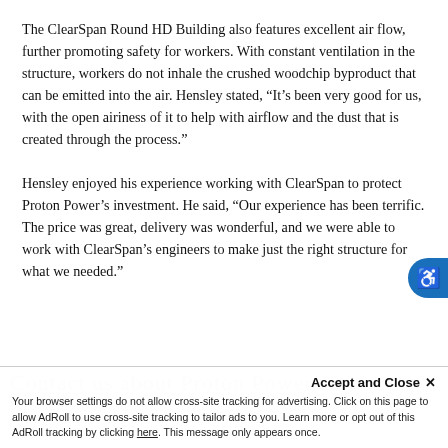The ClearSpan Round HD Building also features excellent air flow, further promoting safety for workers. With constant ventilation in the structure, workers do not inhale the crushed woodchip byproduct that can be emitted into the air. Hensley stated, “It’s been very good for us, with the open airiness of it to help with airflow and the dust that is created through the process.”
Hensley enjoyed his experience working with ClearSpan to protect Proton Power’s investment. He said, “Our experience has been terrific. The price was great, delivery was wonderful, and we were able to work with ClearSpan’s engineers to make just the right structure for what we needed.”
Accept and Close × Your browser settings do not allow cross-site tracking for advertising. Click on this page to allow AdRoll to use cross-site tracking to tailor ads to you. Learn more or opt out of this AdRoll tracking by clicking here. This message only appears once.